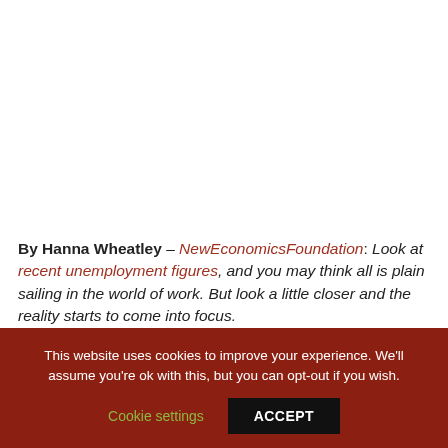By Hanna Wheatley – NewEconomicsFoundation: Look at recent unemployment figures, and you may think all is plain sailing in the world of work. But look a little closer and the reality starts to come into focus.
This website uses cookies to improve your experience. We'll assume you're ok with this, but you can opt-out if you wish.
Cookie settings   ACCEPT